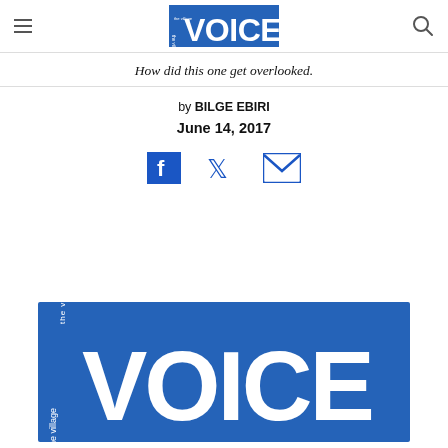the village VOICE
How did this one get overlooked.
by BILGE EBIRI
June 14, 2017
[Figure (logo): Social share icons: Facebook, Twitter, Email]
[Figure (logo): The Village Voice logo — large blue rectangle with white text reading 'the village VOICE']